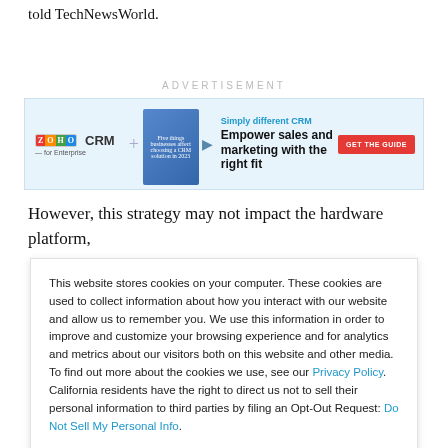told TechNewsWorld.
ADVERTISEMENT
[Figure (other): Zoho CRM for Enterprise advertisement banner. Shows Zoho CRM logo, book graphic, and text: 'Simply different CRM – Empower sales and marketing with the right fit' with a red 'GET THE GUIDE' button.]
However, this strategy may not impact the hardware platform,
This website stores cookies on your computer. These cookies are used to collect information about how you interact with our website and allow us to remember you. We use this information in order to improve and customize your browsing experience and for analytics and metrics about our visitors both on this website and other media. To find out more about the cookies we use, see our Privacy Policy. California residents have the right to direct us not to sell their personal information to third parties by filing an Opt-Out Request: Do Not Sell My Personal Info.
Accept